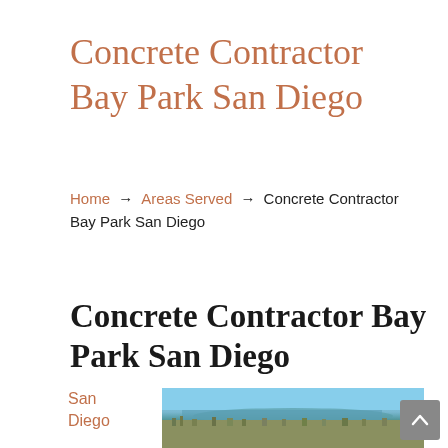Concrete Contractor Bay Park San Diego
Home → Areas Served → Concrete Contractor Bay Park San Diego
Concrete Contractor Bay Park San Diego
San Diego
[Figure (photo): Aerial photograph of San Diego Bay area showing bay water, urban neighborhoods and landscape under clear blue sky]